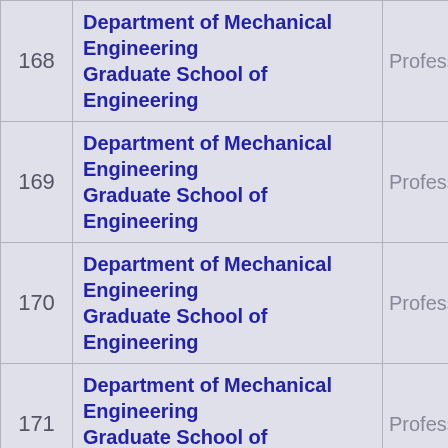| # | Department / School | Position |
| --- | --- | --- |
| 168 | Department of Mechanical Engineering
Graduate School of Engineering | Professor |
| 169 | Department of Mechanical Engineering
Graduate School of Engineering | Professor |
| 170 | Department of Mechanical Engineering
Graduate School of Engineering | Professor |
| 171 | Department of Mechanical Engineering
Graduate School of Engineering | Professor |
| 172 | Department of Mechanical Engineering
Graduate School of Engineering | Professor |
| 173 | Department of Mechanical Engineering
Graduate School of Engineering | Professor |
| 174 | Department of Mechanical Engineering
Graduate School of Engineering | Professor |
| 175 | Department of Mechanical Engineering
Graduate School of Engineering | Professor |